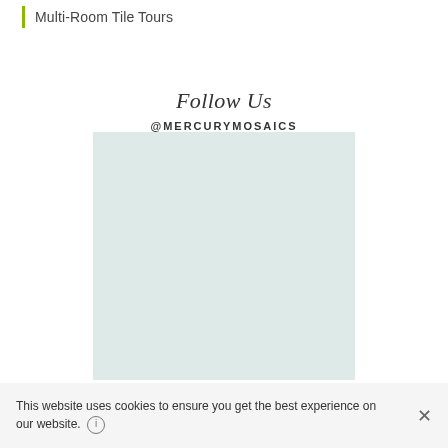Multi-Room Tile Tours
Follow Us
@MERCURYMOSAICS
[Figure (other): Light mint/teal colored rectangular box, likely an Instagram feed placeholder, with 'Follow Us' heading and '@MERCURYMOSAICS' handle above it]
This website uses cookies to ensure you get the best experience on our website.